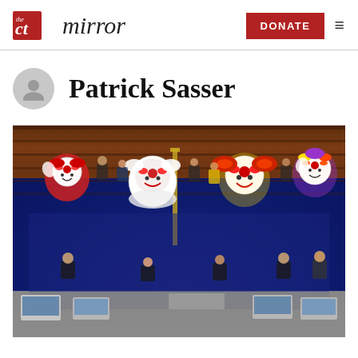the CT mirror | DONATE
Patrick Sasser
[Figure (photo): A legislative chamber (Connecticut General Assembly) photographed from above, showing tiered wooden seats with legislators seated. Several clown faces (Pennywise, Ronald McDonald, and colorful circus clowns) have been superimposed on some of the legislators. The floor has a dark blue patterned carpet. At the bottom, a press/clerk area with laptops and monitors is visible.]